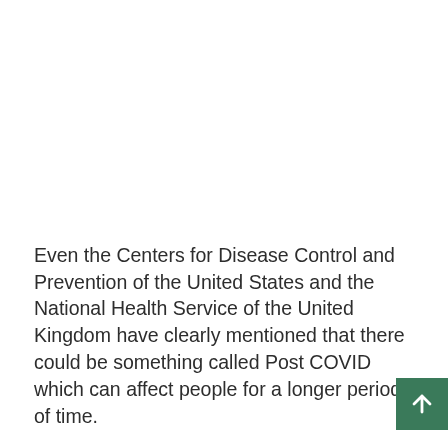Even the Centers for Disease Control and Prevention of the United States and the National Health Service of the United Kingdom have clearly mentioned that there could be something called Post COVID which can affect people for a longer period of time.